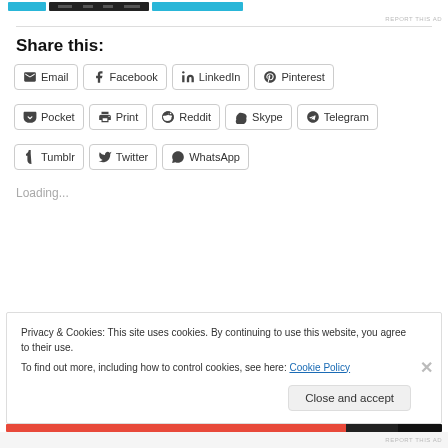[Figure (screenshot): Top ad banner with colored bar]
Share this:
Email Facebook LinkedIn Pinterest Pocket Print Reddit Skype Telegram Tumblr Twitter WhatsApp
Loading...
Privacy & Cookies: This site uses cookies. By continuing to use this website, you agree to their use.
To find out more, including how to control cookies, see here: Cookie Policy
Close and accept